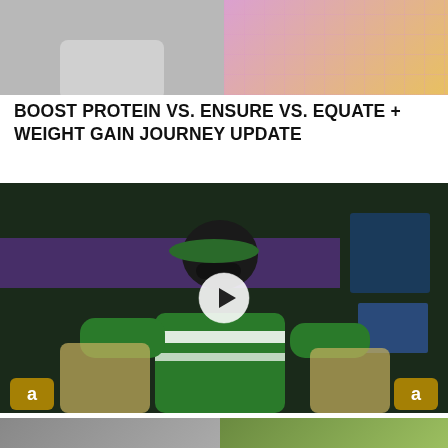[Figure (photo): Top cropped thumbnail showing two people's torsos, left side grey/neutral tones, right side orange/yellow outfit with pink grid background]
BOOST PROTEIN VS. ENSURE VS. EQUATE + WEIGHT GAIN JOURNEY UPDATE
[Figure (photo): Video thumbnail of Young Jeezy sitting on a couch wearing a green and white striped jacket and green cap with dark sunglasses, with a play button overlay. BET Rap City set in background with purple and gold tones. 'a' logos visible in bottom corners.]
Young Jeezy Reflects On His First Rap City Appearance | Rap City '21
[Figure (photo): Bottom partially visible thumbnail split into two images]